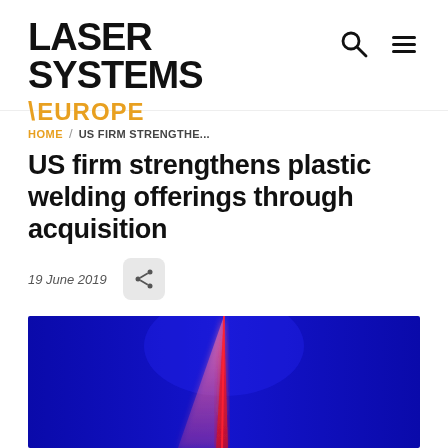[Figure (logo): Laser Systems Europe logo with black bold text and gold/orange backslash and EUROPE text]
HOME / US FIRM STRENGTHE...
US firm strengthens plastic welding offerings through acquisition
19 June 2019
[Figure (photo): Blue background with red and pink laser beam forming a triangular shape]